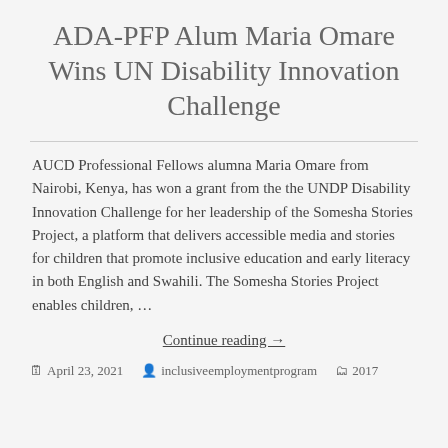ADA-PFP Alum Maria Omare Wins UN Disability Innovation Challenge
AUCD Professional Fellows alumna Maria Omare from Nairobi, Kenya, has won a grant from the the UNDP Disability Innovation Challenge for her leadership of the Somesha Stories Project, a platform that delivers accessible media and stories for children that promote inclusive education and early literacy in both English and Swahili. The Somesha Stories Project enables children, …
Continue reading →
April 23, 2021 · inclusiveemploymentprogram · 2017